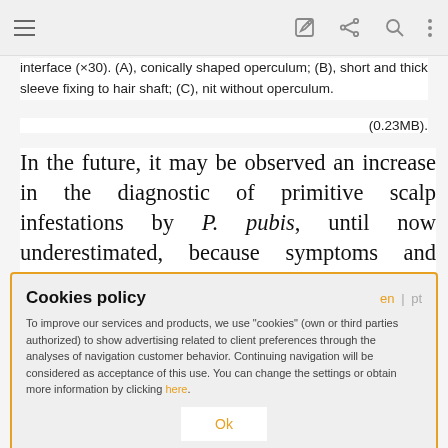interface (×30). (A), conically shaped operculum; (B), short and thick sleeve fixing to hair shaft; (C), nit without operculum.
(0.23MB).
In the future, it may be observed an increase in the diagnostic of primitive scalp infestations by P. pubis, until now underestimated, because symptoms and macroscopic affinity with the more common P.
Cookies policy
To improve our services and products, we use "cookies" (own or third parties authorized) to show advertising related to client preferences through the analyses of navigation customer behavior. Continuing navigation will be considered as acceptance of this use. You can change the settings or obtain more information by clicking here.